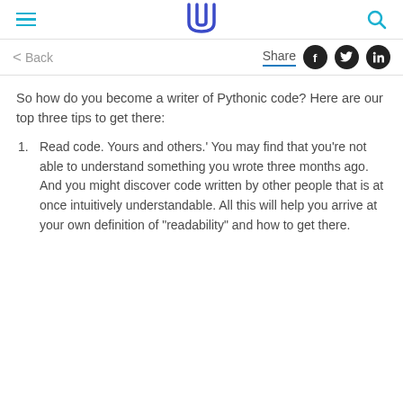Udacity logo, hamburger menu, search icon
Back   Share
So how do you become a writer of Pythonic code? Here are our top three tips to get there:
Read code. Yours and others.' You may find that you’re not able to understand something you wrote three months ago. And you might discover code written by other people that is at once intuitively understandable. All this will help you arrive at your own definition of “readability” and how to get there.